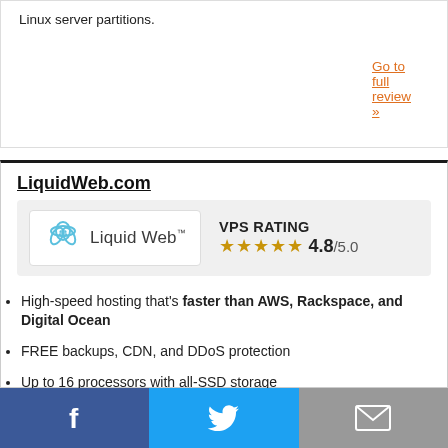Linux server partitions.
Go to full review »
LiquidWeb.com
[Figure (logo): Liquid Web logo with VPS RATING label and 4.8/5.0 star rating]
High-speed hosting that's faster than AWS, Rackspace, and Digital Ocean
FREE backups, CDN, and DDoS protection
Up to 16 processors with all-SSD storage
Choice between cPanel, Plesk, or InterWorx
Facebook | Twitter | Email share buttons